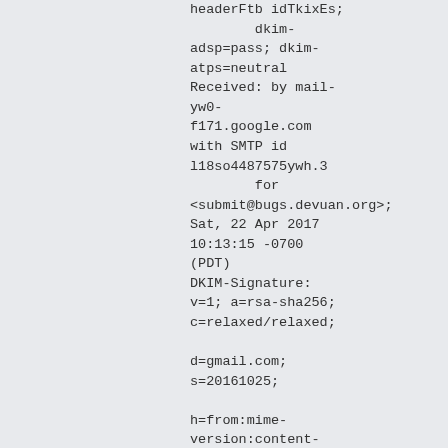headerFtb idTkixEs;
        dkim-adsp=pass; dkim-atps=neutral
Received: by mail-yw0-f171.google.com with SMTP id l18so4487575ywh.3
        for <submit@bugs.devuan.org>; Sat, 22 Apr 2017 10:13:15 -0700 (PDT)
DKIM-Signature: v=1; a=rsa-sha256; c=relaxed/relaxed;

d=gmail.com; s=20161025;

h=from:mime-version:content-transfer-encoding:to:subject:message-id
        :date;

bh=PElUoHLiOIWml3JOanp8k5PKFddanAi

b=YdZklxEQYWR69bHy2EiSXRErowIb+y